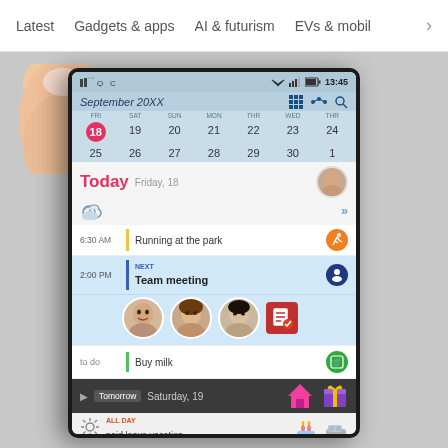Latest  Gadgets & apps  AI & futurism  EVs & mobil >
[Figure (screenshot): A hand bending/flexing a smartphone with a flexible display showing a calendar app for September 20XX. The screen shows: status bar with time 13:45, calendar grid for week of Sep 18-24 and 25-1, Today section (Friday 18) with weather icon, events: 6:30 AM Running at the park, 2:00 PM Team meeting (NEXT) with three contact avatars, to do: Buy milk, Tomorrow section (Saturday 19) with house and gift icons, ALL DAY paid leave vacation.]